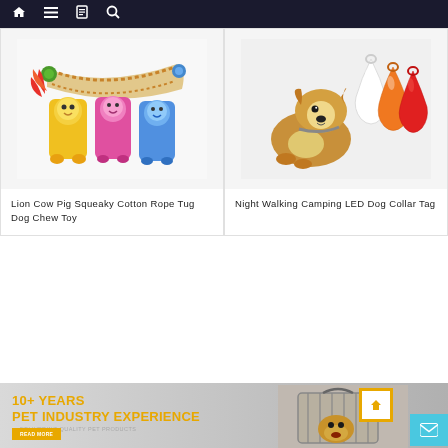Navigation bar with home, menu, book, and search icons
[Figure (photo): Colorful Lion Cow Pig stuffed animal dog chew toys with cotton rope]
Lion Cow Pig Squeaky Cotton Rope Tug Dog Chew Toy
[Figure (photo): Night Walking Camping LED Dog Collar Tag in white, orange, and red colors with a Corgi dog]
Night Walking Camping LED Dog Collar Tag
[Figure (photo): Banner with dog in travel crate, 10+ Years Pet Industry Experience text, and icons]
10+ YEARS
PET INDUSTRY EXPERIENCE
— DELIVERING QUALITY PET PRODUCTS